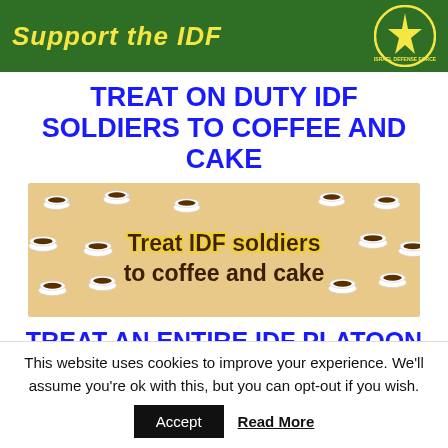[Figure (illustration): Green banner with yellow italic text 'Support the IDF' and partial IDF logo on the right]
TREAT ON DUTY IDF SOLDIERS TO COFFEE AND CAKE
[Figure (illustration): Promotional image with coffee cups on tan background and text 'Treat IDF soldiers to coffee and cake']
TREAT AN ENTIRE IDF PLATOON
This website uses cookies to improve your experience. We'll assume you're ok with this, but you can opt-out if you wish.
Accept  Read More